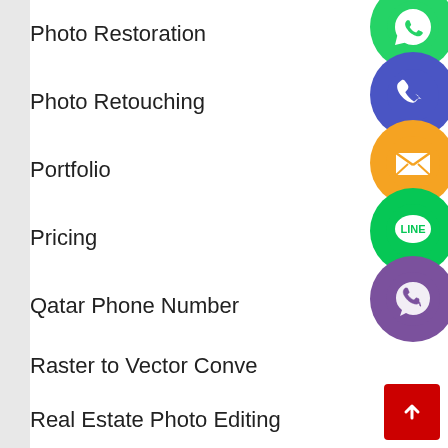Photo Restoration
Photo Retouching
Portfolio
Pricing
Qatar Phone Number
Raster to Vector Conve...
Real Estate Photo Editing
Russia Mobile Number
[Figure (illustration): Social media and contact app icons stacked vertically: WhatsApp (green), Viber/Phone (blue-purple), Email (orange), LINE (green), Viber (purple), close/X (green)]